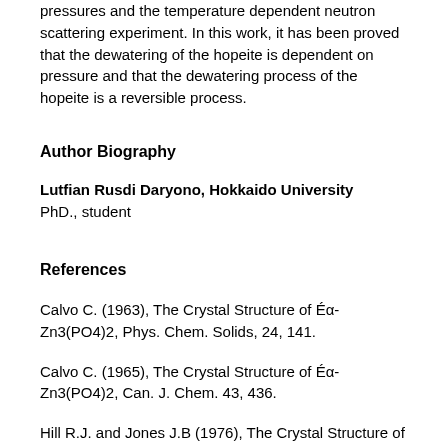pressures and the temperature dependent neutron scattering experiment. In this work, it has been proved that the dewatering of the hopeite is dependent on pressure and that the dewatering process of the hopeite is a reversible process.
Author Biography
Lutfian Rusdi Daryono, Hokkaido University
PhD., student
References
Calvo C. (1963), The Crystal Structure of Éα- Zn3(PO4)2, Phys. Chem. Solids, 24, 141.
Calvo C. (1965), The Crystal Structure of Éα- Zn3(PO4)2, Can. J. Chem. 43, 436.
Hill R.J. and Jones J.B (1976), The Crystal Structure of Hopeit,